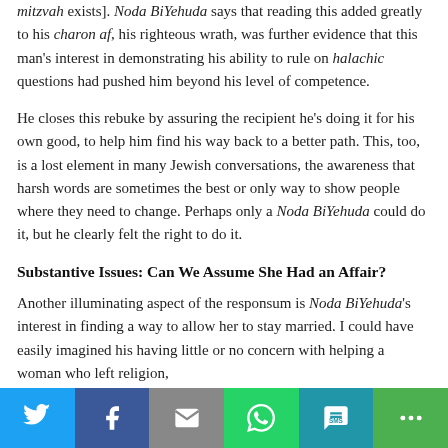mitzvah exists]. Noda BiYehuda says that reading this added greatly to his charon af, his righteous wrath, was further evidence that this man's interest in demonstrating his ability to rule on halachic questions had pushed him beyond his level of competence.
He closes this rebuke by assuring the recipient he's doing it for his own good, to help him find his way back to a better path. This, too, is a lost element in many Jewish conversations, the awareness that harsh words are sometimes the best or only way to show people where they need to change. Perhaps only a Noda BiYehuda could do it, but he clearly felt the right to do it.
Substantive Issues: Can We Assume She Had an Affair?
Another illuminating aspect of the responsum is Noda BiYehuda's interest in finding a way to allow her to stay married. I could have easily imagined his having little or no concern with helping a woman who left religion,
[Figure (infographic): Social sharing bar with icons for Twitter, Facebook, Email, WhatsApp, SMS, and More (share) buttons on colored backgrounds.]